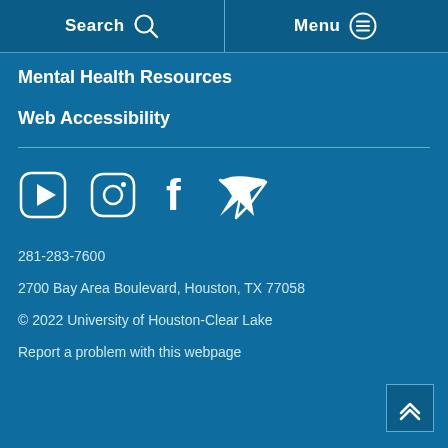Search | Menu
Mental Health Resources
Web Accessibility
[Figure (infographic): Social media icons: YouTube, Instagram, Facebook, Twitter]
281-283-7600
2700 Bay Area Boulevard, Houston, TX 77058
© 2022 University of Houston-Clear Lake
Report a problem with this webpage